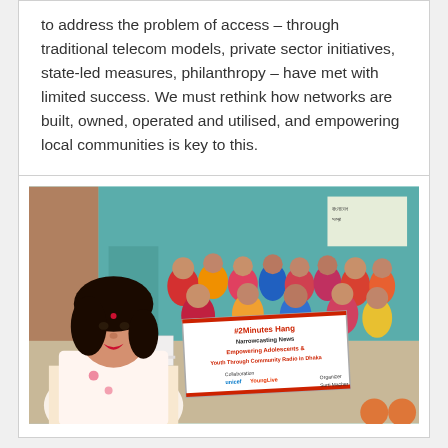to address the problem of access – through traditional telecom models, private sector initiatives, state-led measures, philanthropy – have met with limited success. We must rethink how networks are built, owned, operated and utilised, and empowering local communities is key to this.
[Figure (photo): A group of women in colorful traditional Indian saris posing together outdoors in front of a teal/blue painted building. In the foreground, a woman takes a selfie. The group holds a banner reading '#2 Minutes Hang Narrowcasting News: Empowering Adolescents Through Community Radio in Dhaka' with UNICEF and YoungLive logos.]